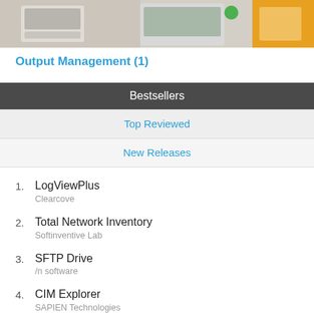[Figure (photo): Banner image showing office/tech devices including a calculator/printer, laptop, and orange accent on a light background]
Output Management (1)
Bestsellers
Top Reviewed
New Releases
LogViewPlus
Clearcove
Total Network Inventory
Softinventive Lab
SFTP Drive
/n software
CIM Explorer
SAPIEN Technologies
SourceGear Vault Professional